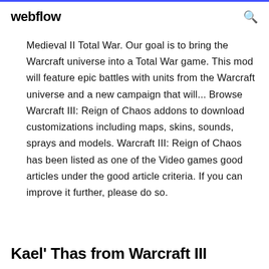webflow
Medieval II Total War. Our goal is to bring the Warcraft universe into a Total War game. This mod will feature epic battles with units from the Warcraft universe and a new campaign that will... Browse Warcraft III: Reign of Chaos addons to download customizations including maps, skins, sounds, sprays and models. Warcraft III: Reign of Chaos has been listed as one of the Video games good articles under the good article criteria. If you can improve it further, please do so.
Kael' Thas from Warcraft III